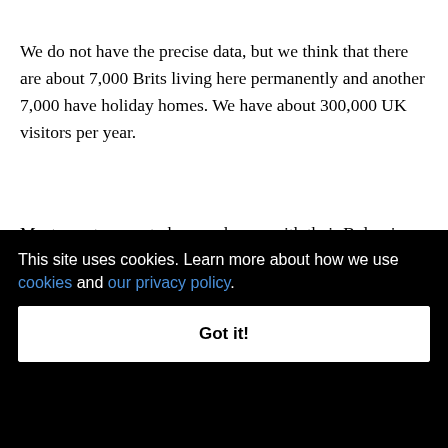We do not have the precise data, but we think that there are about 7,000 Brits living here permanently and another 7,000 have holiday homes. We have about 300,000 UK visitors per year.
Most expats seem to be very happy with their Bulgarian neighbours and feel very welcome. The complaints we hear concern mainly the authorities. For example, we heard that the water had been turned off in one area. A Briton called and said there was no water. It was no ... friend ... derly ... traged
This site uses cookies. Learn more about how we use cookies and our privacy policy.
Got it!